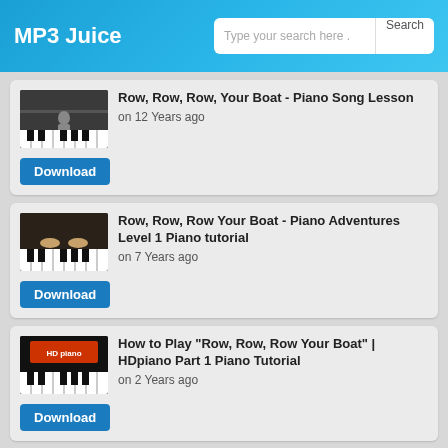MP3 Juice
Row, Row, Row, Your Boat - Piano Song Lesson on 12 Years ago
Download
Row, Row, Row Your Boat - Piano Adventures Level 1 Piano tutorial on 7 Years ago
Download
How to Play "Row, Row, Row Your Boat" | HDpiano Part 1 Piano Tutorial on 2 Years ago
Download
Row Row Row Your Boat Easy Piano Keyboard Tutorial on 6 Years ago